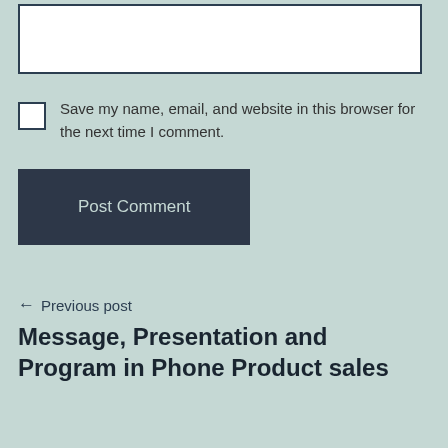[Figure (screenshot): A website comment form input box (text field for website URL), empty white rectangle with dark border]
Save my name, email, and website in this browser for the next time I comment.
Post Comment
← Previous post
Message, Presentation and Program in Phone Product sales